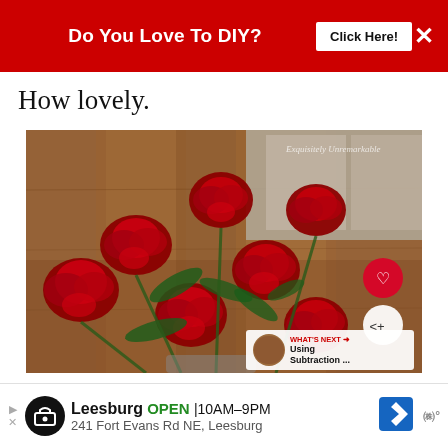[Figure (infographic): Red banner advertisement: 'Do You Love To DIY?' with a 'Click Here!' button and an X close button on a red background.]
How lovely.
[Figure (photo): Close-up photo of a bouquet of red roses with green leaves on a wood-grain table. Watermark reads 'Exquisitely Unremarkable'. Contains a heart icon button, a share icon button, and a 'What's Next' overlay showing 'Using Subtraction ...']
[Figure (infographic): Ad bar at bottom: Leesburg store, OPEN 10AM-9PM, 241 Fort Evans Rd NE, Leesburg, with navigation and weather icons.]